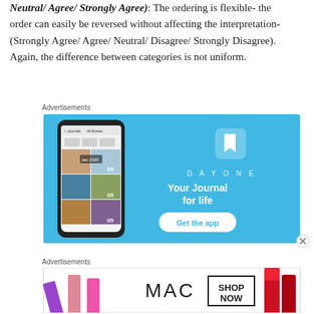Neutral/ Agree/ Strongly Agree): The ordering is flexible- the order can easily be reversed without affecting the interpretation- (Strongly Agree/ Agree/ Neutral/ Disagree/ Strongly Disagree). Again, the difference between categories is not uniform.
Advertisements
[Figure (photo): Day One app advertisement showing a smartphone with journal entries and the text 'DAYONE - Your Journal for life' with a 'Get the app' button on a blue background]
Advertisements
[Figure (photo): MAC cosmetics advertisement showing colorful lipsticks on the left, MAC logo in center, and a 'SHOP NOW' box, with a red lipstick on the right]